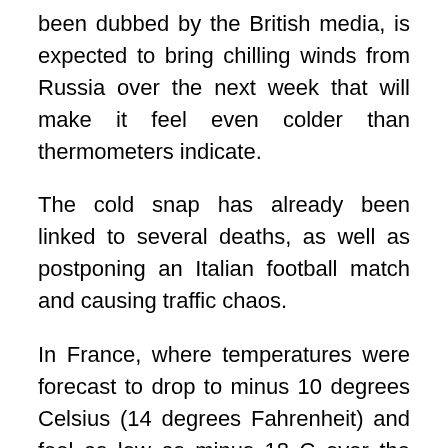been dubbed by the British media, is expected to bring chilling winds from Russia over the next week that will make it feel even colder than thermometers indicate.
The cold snap has already been linked to several deaths, as well as postponing an Italian football match and causing traffic chaos.
In France, where temperatures were forecast to drop to minus 10 degrees Celsius (14 degrees Fahrenheit) and feel as low as minus 18 C over the coming days, fears ran high for people living on the streets.
A homeless man in the city of Valence in the country's southeast was found dead on Sunday, and another man was found dead in his cabin in the suburbs of